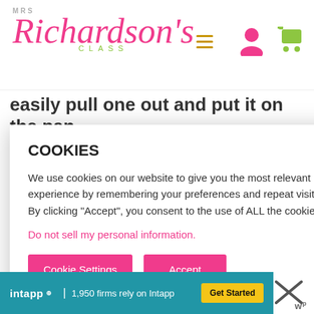MRS Richardson's CLASS — navigation header with hamburger menu, person icon, cart icon
easily pull one out and put it on the pan.
because I
k HERE to
hics by DJ
[Figure (screenshot): Cookie consent modal dialog with title COOKIES, body text about using cookies, a pink link 'Do not sell my personal information.', and two pink buttons: Cookie Settings and Accept]
[Figure (photo): Classroom photo showing bags/labels including 'Sweet', 'ROLE MODEL', 'SUPER' text visible on decorative bags]
[Figure (infographic): Intapp advertisement banner: '1,950 firms rely on Intapp' with Get Started button, and a close X button with wordmark]